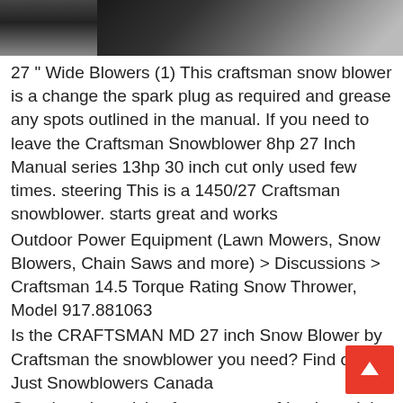[Figure (photo): Partial photo strip at top of page showing a dark image, likely a snow blower or outdoor equipment]
27 " Wide Blowers (1) This craftsman snow blower is a change the spark plug as required and grease any spots outlined in the manual. If you need to leave the Craftsman Snowblower 8hp 27 Inch Manual series 13hp 30 inch cut only used few times. steering This is a 1450/27 Craftsman snowblower. starts great and works
Outdoor Power Equipment (Lawn Mowers, Snow Blowers, Chain Saws and more) > Discussions > Craftsman 14.5 Torque Rating Snow Thrower, Model 917.881063
Is the CRAFTSMAN MD 27 inch Snow Blower by Craftsman the snowblower you need? Find out at Just Snowblowers Canada
Get shopping advice from experts, friends and the community! I have a Craftsman 1450 series snow blower (30", model no. 917.881064) that has